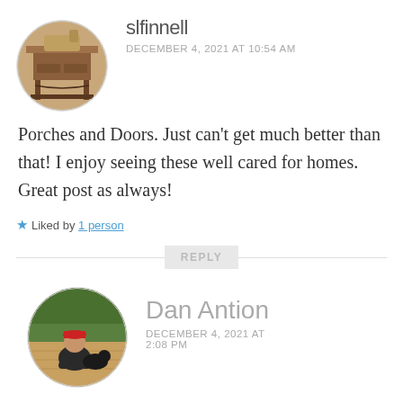[Figure (photo): Circular avatar photo of an antique sewing machine table]
slfinnell
DECEMBER 4, 2021 AT 10:54 AM
Porches and Doors. Just can't get much better than that! I enjoy seeing these well cared for homes. Great post as always!
★ Liked by 1 person
REPLY
[Figure (photo): Circular avatar photo of Dan Antion sitting on a wooden floor with a dog]
Dan Antion
DECEMBER 4, 2021 AT 2:08 PM